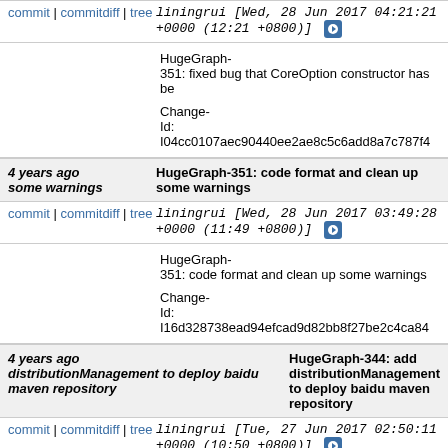commit | commitdiff | tree  liningrui [Wed, 28 Jun 2017 04:21:21 +0000 (12:21 +0800)]
HugeGraph-351: fixed bug that CoreOption constructor has be

Change-Id: I04cc0107aec90440ee2ae8c5c6add8a7c787f4
4 years ago some warnings    HugeGraph-351: code format and clean up some warnings
commit | commitdiff | tree  liningrui [Wed, 28 Jun 2017 03:49:28 +0000 (11:49 +0800)]
HugeGraph-351: code format and clean up some warnings

Change-Id: I16d328738ead94efcad9d82bb8f27be2c4ca84
4 years ago distributionManagement to deploy baidu maven repository    HugeGraph-344: add distributionManagement to deploy baidu maven repository
commit | commitdiff | tree  liningrui [Tue, 27 Jun 2017 02:50:11 +0000 (10:50 +0800)]
HugeGraph-344: add distributionManagement to deploy baidu